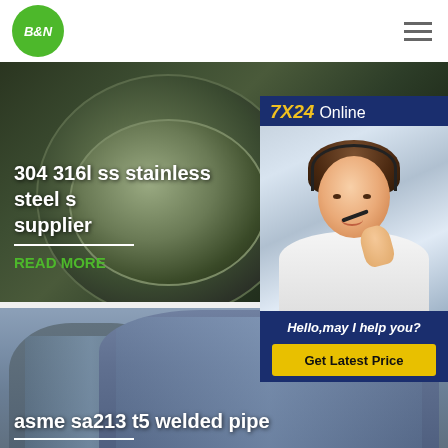[Figure (logo): B&N green circular logo in top left header]
[Figure (other): Hamburger menu icon in top right header]
[Figure (photo): Aerial view of an industrial circular tank/reservoir - dark tones, stainless steel supplier banner image]
304 316l ss stainless steel s supplier
READ MORE
[Figure (photo): 7X24 Online chat widget with headset customer service representative photo, Hello may I help you? text and Get Latest Price button]
[Figure (photo): Aerial view of glass buildings with curved rooftops against grey sky, for asme sa213 t5 welded pipe]
asme sa213 t5 welded pipe